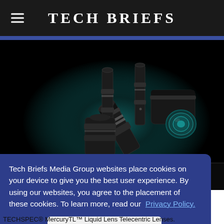Tech Briefs
[Figure (photo): Product photo of TECHSPEC MercuryTL Liquid Lens Telecentric Lenses — several black cylindrical optical lens assemblies grouped together against a dark teal/black background]
Tech Briefs Media Group websites place cookies on your device to give you the best user experience. By using our websites, you agree to the placement of these cookies. To learn more, read our Privacy Policy.
Accept & Continue
TECHSPEC® MercuryTL™ Liquid Lens Telecentric Lenses.